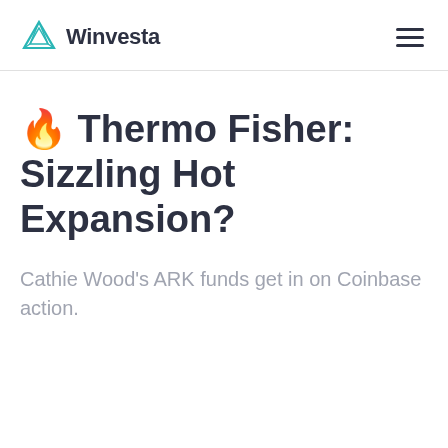Winvesta
🔥 Thermo Fisher: Sizzling Hot Expansion?
Cathie Wood's ARK funds get in on Coinbase action.